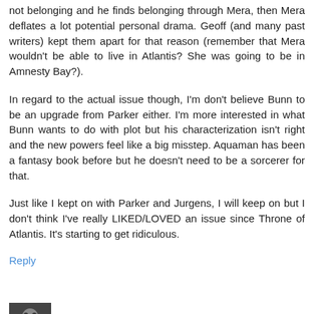not belonging and he finds belonging through Mera, then Mera deflates a lot potential personal drama. Geoff (and many past writers) kept them apart for that reason (remember that Mera wouldn't be able to live in Atlantis? She was going to be in Amnesty Bay?).
In regard to the actual issue though, I'm don't believe Bunn to be an upgrade from Parker either. I'm more interested in what Bunn wants to do with plot but his characterization isn't right and the new powers feel like a big misstep. Aquaman has been a fantasy book before but he doesn't need to be a sorcerer for that.
Just like I kept on with Parker and Jurgens, I will keep on but I don't think I've really LIKED/LOVED an issue since Throne of Atlantis. It's starting to get ridiculous.
Reply
Words Seem Out of Place  2:30 PM
Hmmmm. This left me flat. I realize all of what I'm about to say will make me sound like the typically annoying fanboy